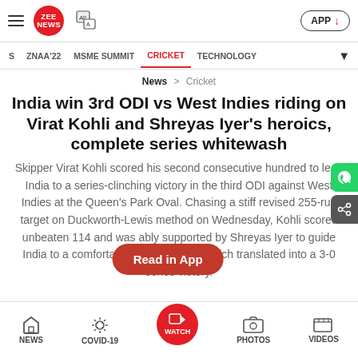ZEE NEWS
ZNAA'22 | MSME SUMMIT | CRICKET | TECHNOLOGY
News > Cricket
India win 3rd ODI vs West Indies riding on Virat Kohli and Shreyas Iyer's heroics, complete series whitewash
Skipper Virat Kohli scored his second consecutive hundred to lead India to a series-clinching victory in the third ODI against West Indies at the Queen's Park Oval. Chasing a stiff revised 255-run target on Duckworth-Lewis method on Wednesday, Kohli scored unbeaten 114 and was ably supported by Shreyas Iyer to guide India to a comfortable six-wicket win which translated into a 3-0 series victory.
NEWS | COVID-19 | WATCH | PHOTOS | VIDEOS